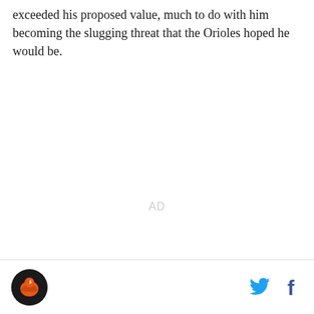exceeded his proposed value, much to do with him becoming the slugging threat that the Orioles hoped he would be.
[Figure (other): Advertisement placeholder with 'AD' text centered in a white box]
Logo icon on left, Twitter and Facebook social share icons on right